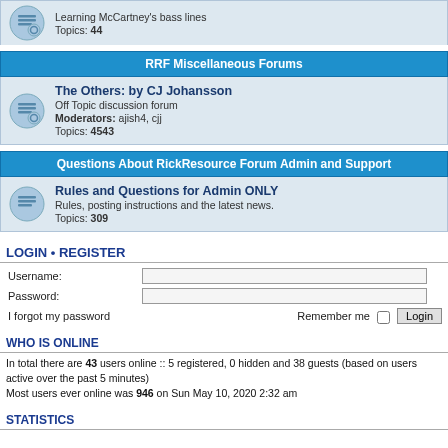Learning McCartney's bass lines
Topics: 44
RRF Miscellaneous Forums
The Others: by CJ Johansson
Off Topic discussion forum
Moderators: ajish4, cjj
Topics: 4543
Questions About RickResource Forum Admin and Support
Rules and Questions for Admin ONLY
Rules, posting instructions and the latest news.
Topics: 309
LOGIN • REGISTER
Username:
Password:
I forgot my password
Remember me
WHO IS ONLINE
In total there are 43 users online :: 5 registered, 0 hidden and 38 guests (based on users active over the past 5 minutes)
Most users ever online was 946 on Sun May 10, 2020 2:32 am
STATISTICS